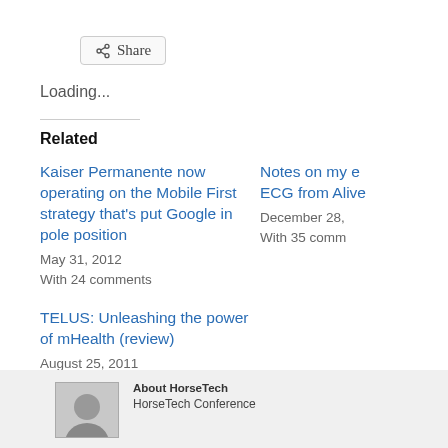Share
Loading...
Related
Kaiser Permanente now operating on the Mobile First strategy that's put Google in pole position
May 31, 2012
With 24 comments
Notes on my e…ECG from Alive…
December 28,…
With 35 comm…
TELUS: Unleashing the power of mHealth (review)
August 25, 2011
With 5 comments
About HorseTech
HorseTech Conference